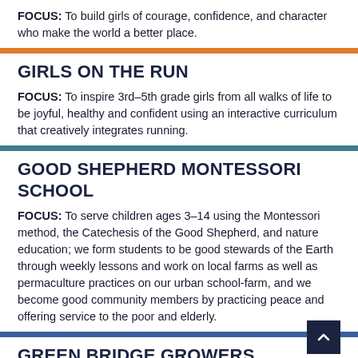FOCUS: To build girls of courage, confidence, and character who make the world a better place.
GIRLS ON THE RUN
FOCUS: To inspire 3rd–5th grade girls from all walks of life to be joyful, healthy and confident using an interactive curriculum that creatively integrates running.
GOOD SHEPHERD MONTESSORI SCHOOL
FOCUS: To serve children ages 3–14 using the Montessori method, the Catechesis of the Good Shepherd, and nature education; we form students to be good stewards of the Earth through weekly lessons and work on local farms as well as permaculture practices on our urban school-farm, and we become good community members by practicing peace and offering service to the poor and elderly.
GREEN BRIDGE GROWERS
FOCUS: To produce fresh, healthy food using sustainable agriculture innovations and more, providing